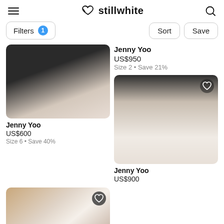stillwhite
Filters 1
Sort
Save
[Figure (photo): Wedding dress photo, partially cut off at top - bride in white gown with veil, man in black suit]
Jenny Yoo
US$950
Size 2 • Save 21%
Jenny Yoo
US$600
Size 6 • Save 40%
[Figure (photo): Bride in white long-sleeve wedding gown against neutral background, with heart/favorite icon]
[Figure (photo): Bride in strapless white gown in bridal shop, with heart/favorite icon]
Jenny Yoo
US$900